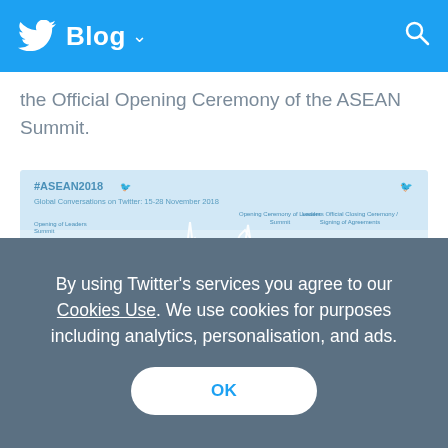Blog
the Official Opening Ceremony of the ASEAN Summit.
[Figure (continuous-plot): #ASEAN2018 Global Conversations on Twitter time series line chart showing tweet activity from 15-28 November 2018, with peaks at Opening Ceremony of Leaders Summit, Opening of Leaders Summit, and Leaders Official Closing Ceremony / Signing of Agreements]
By using Twitter’s services you agree to our Cookies Use. We use cookies for purposes including analytics, personalisation, and ads.
OK